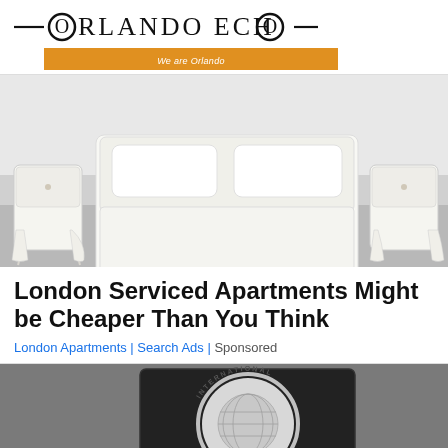ORLANDO ECHO — We are Orlando
[Figure (photo): Photo of a white bedroom with French-style bed frame and two nightstands on grey floor]
London Serviced Apartments Might be Cheaper Than You Think
London Apartments | Search Ads | Sponsored
[Figure (photo): Photo of IMF (International Monetary Fund) silver emblem/seal on dark background, showing globe and text INTERNATIONAL]